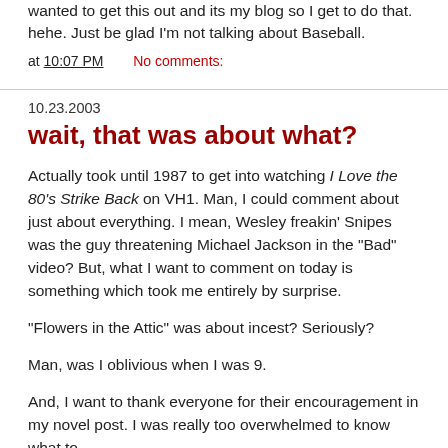wanted to get this out and its my blog so I get to do that. hehe. Just be glad I'm not talking about Baseball.
at 10:07 PM   No comments:
10.23.2003
wait, that was about what?
Actually took until 1987 to get into watching I Love the 80's Strike Back on VH1. Man, I could comment about just about everything. I mean, Wesley freakin' Snipes was the guy threatening Michael Jackson in the "Bad" video? But, what I want to comment on today is something which took me entirely by surprise.
"Flowers in the Attic" was about incest? Seriously?
Man, was I oblivious when I was 9.
And, I want to thank everyone for their encouragement in my novel post. I was really too overwhelmed to know what to